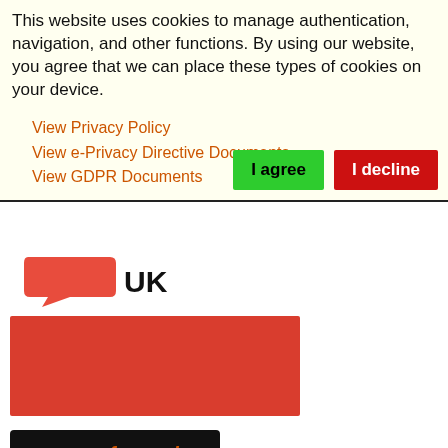This website uses cookies to manage authentication, navigation, and other functions. By using our website, you agree that we can place these types of cookies on your device.
View Privacy Policy
View e-Privacy Directive Documents
View GDPR Documents
[Figure (logo): Red speech bubble logo with UK text]
[Figure (photo): Red banner image area]
[Figure (infographic): Social media icons bar with Twitter, Facebook, and LinkedIn icons on dark background]
Smoking has several appeals. First, tobacco naturally contains nicotine, an insecticide, which